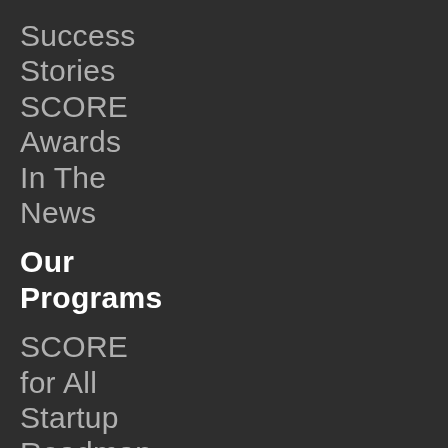Success
Stories
SCORE
Awards
In The
News
Our Programs
SCORE
for All
Startup
Roadmap
Small
Business
Resilience